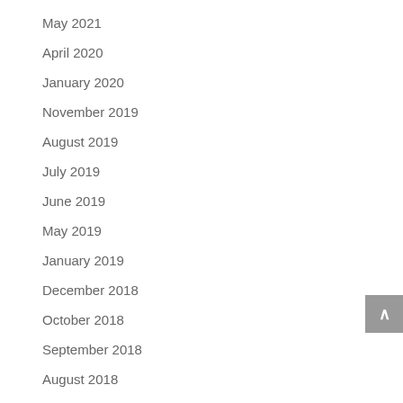May 2021
April 2020
January 2020
November 2019
August 2019
July 2019
June 2019
May 2019
January 2019
December 2018
October 2018
September 2018
August 2018
July 2018
June 2018